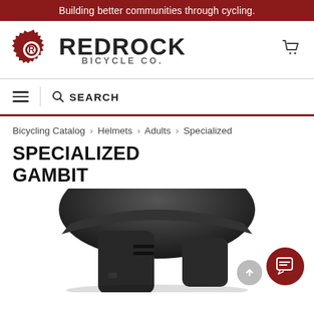Building better communities through cycling.
[Figure (logo): RedRock Bicycle Co. logo with gear icon and cart icon]
SEARCH
Bicycling Catalog > Helmets > Adults > Specialized
SPECIALIZED GAMBIT
[Figure (photo): Close-up photo of a dark/black Specialized Gambit full-face bicycle helmet, viewed from side/top angle]